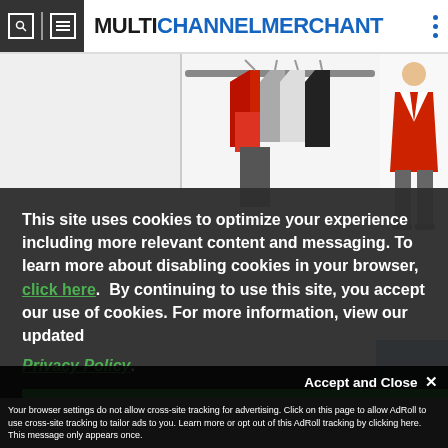MULTICHANNEL MERCHANT
[Figure (illustration): Illustration of clothing items on a rack and a person figure, partial view]
This site uses cookies to optimize your experience including more relevant content and messaging. To learn more about disabling cookies in your browser, click here.  By continuing to use this site, you accept our use of cookies. For more information, view our updated Privacy Policy.
I consent
Accept and Close ✕
Your browser settings do not allow cross-site tracking for advertising. Click on this page to allow AdRoll to use cross-site tracking to tailor ads to you. Learn more or opt out of this AdRoll tracking by clicking here. This message only appears once.